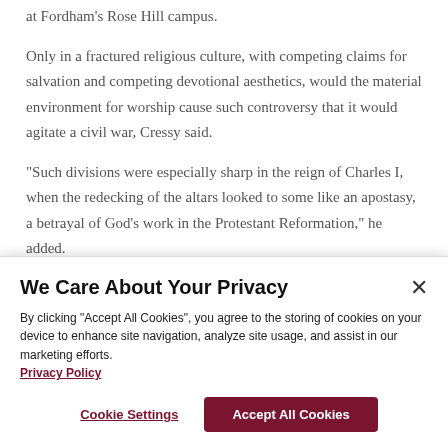at Fordham’s Rose Hill campus.
Only in a fractured religious culture, with competing claims for salvation and competing devotional aesthetics, would the material environment for worship cause such controversy that it would agitate a civil war, Cressy said.
“Such divisions were especially sharp in the reign of Charles I, when the redecking of the altars looked to some like an apostasy, a betrayal of God’s work in the Protestant Reformation,” he added.
We Care About Your Privacy
By clicking “Accept All Cookies”, you agree to the storing of cookies on your device to enhance site navigation, analyze site usage, and assist in our marketing efforts.
Privacy Policy
Cookie Settings
Accept All Cookies